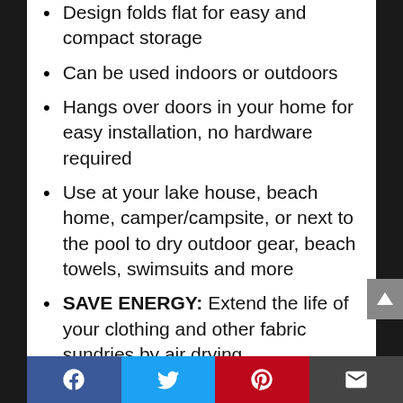Design folds flat for easy and compact storage
Can be used indoors or outdoors
Hangs over doors in your home for easy installation, no hardware required
Use at your lake house, beach home, camper/campsite, or next to the pool to dry outdoor gear, beach towels, swimsuits and more
SAVE ENERGY: Extend the life of your clothing and other fabric sundries by air drying
Reduce utility bills and save money